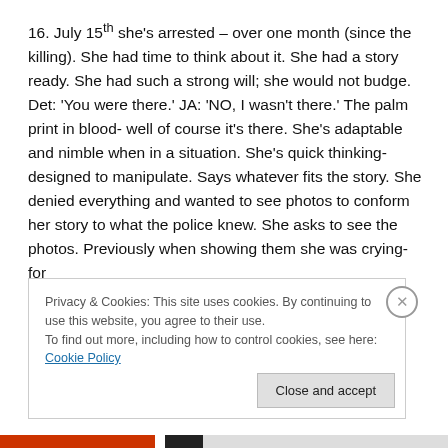16. July 15th she's arrested – over one month (since the killing). She had time to think about it. She had a story ready. She had such a strong will; she would not budge. Det: 'You were there.' JA: 'NO, I wasn't there.' The palm print in blood- well of course it's there. She's adaptable and nimble when in a situation. She's quick thinking- designed to manipulate. Says whatever fits the story. She denied everything and wanted to see photos to conform her story to what the police knew. She asks to see the photos. Previously when showing them she was crying- for
Privacy & Cookies: This site uses cookies. By continuing to use this website, you agree to their use.
To find out more, including how to control cookies, see here: Cookie Policy